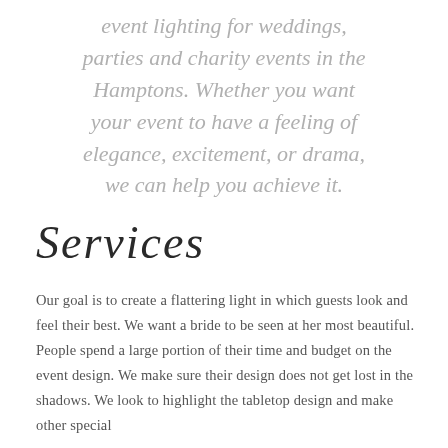event lighting for weddings, parties and charity events in the Hamptons. Whether you want your event to have a feeling of elegance, excitement, or drama, we can help you achieve it.
Services
Our goal is to create a flattering light in which guests look and feel their best. We want a bride to be seen at her most beautiful. People spend a large portion of their time and budget on the event design. We make sure their design does not get lost in the shadows. We look to highlight the tabletop design and make other special